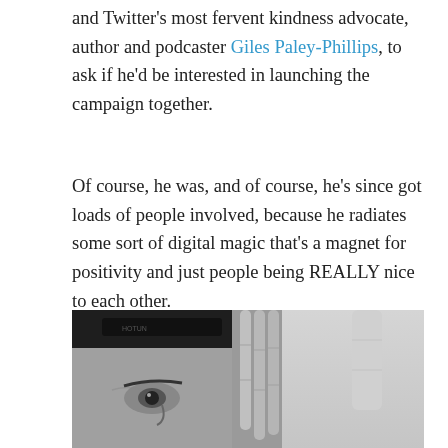and Twitter's most fervent kindness advocate, author and podcaster Giles Paley-Phillips, to ask if he'd be interested in launching the campaign together.
Of course, he was, and of course, he's since got loads of people involved, because he radiates some sort of digital magic that's a magnet for positivity and just people being REALLY nice to each other.
[Figure (photo): Black and white photo showing a person wearing a black cap with text on it, with their hand raised showing fingers close to the camera lens, one eye visible beneath the cap brim.]